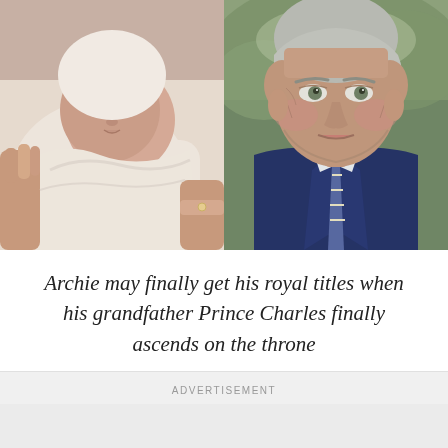[Figure (photo): Two side-by-side photos: left photo shows a newborn baby Archie swaddled in white blankets being held by hands; right photo shows Prince Charles, an older man with grey hair wearing a navy blue suit and striped tie, looking to the side]
Archie may finally get his royal titles when his grandfather Prince Charles finally ascends on the throne
ADVERTISEMENT